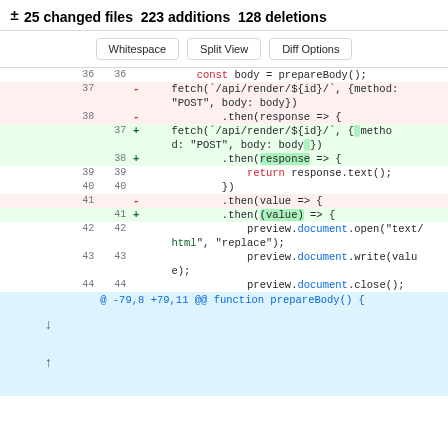± 25 changed files  223 additions  128 deletions
[Figure (screenshot): Git diff view showing code changes with buttons Whitespace, Split View, Diff Options, and diff lines for fetch API call modifications]
@ -79,8 +79,11 @@ function prepareBody() {